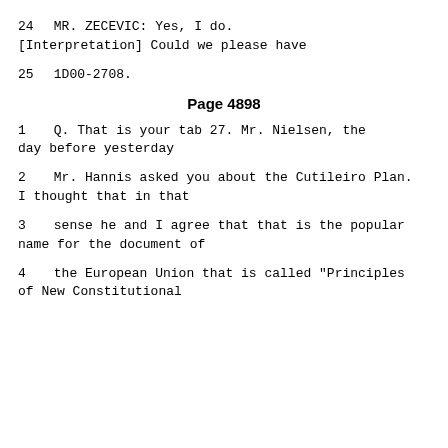24        MR. ZECEVIC:  Yes, I do.
[Interpretation] Could we please have
25      1D00-2708.
Page 4898
1         Q.   That is your tab 27.  Mr. Nielsen, the day before yesterday
2       Mr. Hannis asked you about the Cutileiro Plan. I thought that in that
3       sense he and I agree that that is the popular name for the document of
4       the European Union that is called "Principles of New Constitutional